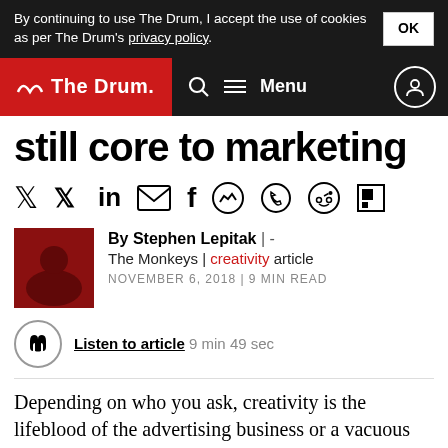By continuing to use The Drum, I accept the use of cookies as per The Drum's privacy policy. OK
The Drum — Search Menu
still core to marketing
[Figure (other): Social share icons row: Twitter, LinkedIn, Email, Facebook, Messenger, WhatsApp, Reddit, Flipboard]
By Stephen Lepitak | - The Monkeys | creativity article NOVEMBER 6, 2018 | 9 MIN READ
Listen to article 9 min 49 sec
Depending on who you ask, creativity is the lifeblood of the advertising business or a vacuous